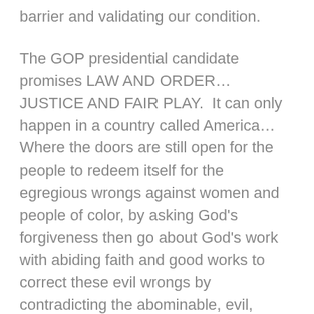barrier and validating our condition.
The GOP presidential candidate promises LAW AND ORDER…JUSTICE AND FAIR PLAY.  It can only happen in a country called America…Where the doors are still open for the people to redeem itself for the egregious wrongs against women and people of color, by asking God's forgiveness then go about God's work with abiding faith and good works to correct these evil wrongs by contradicting the abominable, evil, sinister system that permits such abuses and oppressive usurpation of human rights to take place.
But more importantly, WE THE PEOPLE, incredulously allow these wrongs to